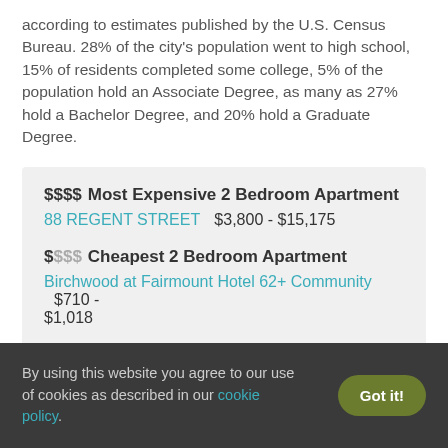according to estimates published by the U.S. Census Bureau. 28% of the city's population went to high school, 15% of residents completed some college, 5% of the population hold an Associate Degree, as many as 27% hold a Bachelor Degree, and 20% hold a Graduate Degree.
$$$$  Most Expensive 2 Bedroom Apartment
88 REGENT STREET    $3,800 - $15,175

$$$$  Cheapest 2 Bedroom Apartment
Birchwood at Fairmount Hotel 62+ Community    $710 - $1,018
By using this website you agree to our use of cookies as described in our cookie policy.